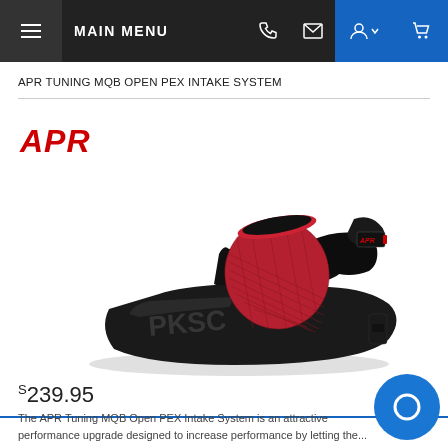≡ MAIN MENU
APR TUNING MQB OPEN PEX INTAKE SYSTEM
[Figure (logo): APR logo in red italic bold text]
[Figure (photo): APR Tuning MQB Open PEX Intake System product photo showing black intake housing with red cone air filter]
$239.95
The APR Tuning MQB Open PEX Intake System is an attractive performance upgrade designed to increase performance by letting the...